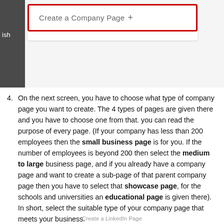[Figure (screenshot): Screenshot of LinkedIn interface showing a 'Create a Company Page +' button highlighted with a red border, with a dark sidebar on the left showing partial text 'ish'.]
4. On the next screen, you have to choose what type of company page you want to create. The 4 types of pages are given there and you have to choose one from that. you can read the purpose of every page. (If your company has less than 200 employees then the small business page is for you. If the number of employees is beyond 200 then select the medium to large business page, and if you already have a company page and want to create a sub-page of that parent company page then you have to select that showcase page, for the schools and universities an educational page is given there). In short, select the suitable type of your company page that meets your business.
Create a LinkedIn Page